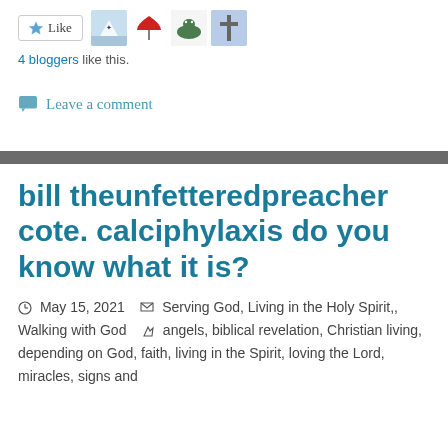[Figure (other): Like button with star icon and 4 blogger avatar thumbnails]
4 bloggers like this.
Leave a comment
bill theunfetteredpreacher cote. calciphylaxis do you know what it is?
May 15, 2021   Serving God, Living in the Holy Spirit,, Walking with God   angels, biblical revelation, Christian living, depending on God, faith, living in the Spirit, loving the Lord, miracles, signs and